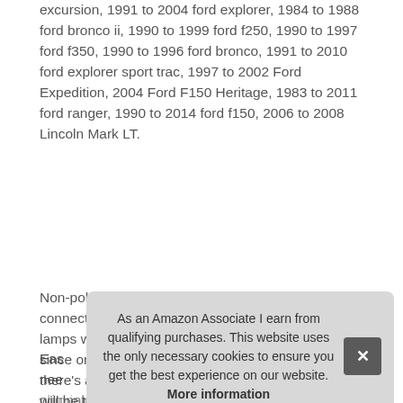excursion, 1991 to 2004 ford explorer, 1984 to 1988 ford bronco ii, 1990 to 1999 ford f250, 1990 to 1997 ford f350, 1990 to 1996 ford bronco, 1991 to 2010 ford explorer sport trac, 1997 to 2002 Ford Expedition, 2004 Ford F150 Heritage, 1983 to 2011 ford ranger, 1990 to 2014 ford f150, 2006 to 2008 Lincoln Mark LT.
Non-polarity, no need to worry positive and negative connections. Package including: 2 x license plate lamps with instruction. 90 day manufacturer warranty since order purchase date, feel free to send email if there's any issue before or after purchase, your case will be taken seriously regardless of warranty period.
Easy installation, no need professional skills, just need to remove the original bulbs and insert new plug into socket.
As an Amazon Associate I earn from qualifying purchases. This website uses the only necessary cookies to ensure you get the best experience on our website. More information